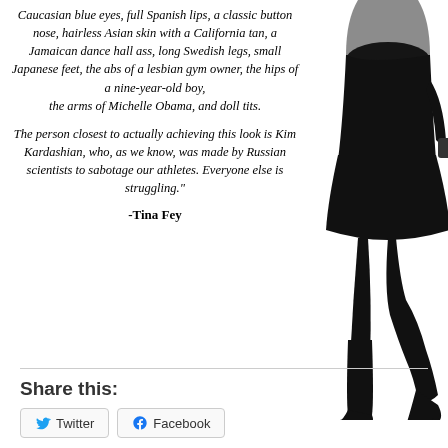Caucasian blue eyes, full Spanish lips, a classic button nose, hairless Asian skin with a California tan, a Jamaican dance hall ass, long Swedish legs, small Japanese feet, the abs of a lesbian gym owner, the hips of a nine-year-old boy, the arms of Michelle Obama, and doll tits.
The person closest to actually achieving this look is Kim Kardashian, who, as we know, was made by Russian scientists to sabotage our athletes. Everyone else is struggling."
-Tina Fey
[Figure (photo): Black and white silhouette of a woman in a black dress and high-heeled boots, shown from approximately mid-torso down, with one leg raised.]
Share this:
Twitter
Facebook